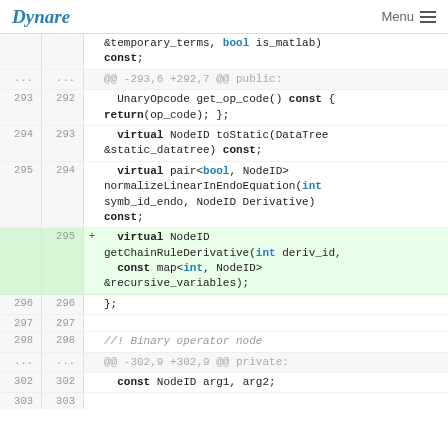Dynare   Menu
&temporary_terms, bool is_matlab)
const;
@@ -293,6 +292,7 @@ public:
293  292    UnaryOpcode get_op_code() const {
      return(op_code); };
294  293    virtual NodeID toStatic(DataTree
      &static_datatree) const;
295  294    virtual pair<bool, NodeID>
      normalizeLinearInEndoEquation(int
      symb_id_endo, NodeID Derivative)
      const;
295  +    virtual NodeID
      getChainRuleDerivative(int deriv_id,
        const map<int, NodeID>
      &recursive_variables);
296  296    };
297  297
298  298    //! Binary operator node
@@ -302,9 +302,9 @@ private:
302  302      const NodeID arg1, arg2;